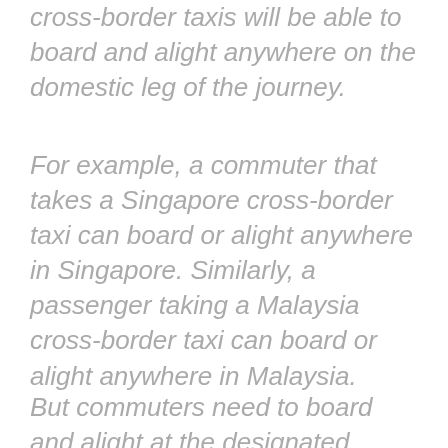cross-border taxis will be able to board and alight anywhere on the domestic leg of the journey.
For example, a commuter that takes a Singapore cross-border taxi can board or alight anywhere in Singapore. Similarly, a passenger taking a Malaysia cross-border taxi can board or alight anywhere in Malaysia.
But commuters need to board and alight at the designated terminals